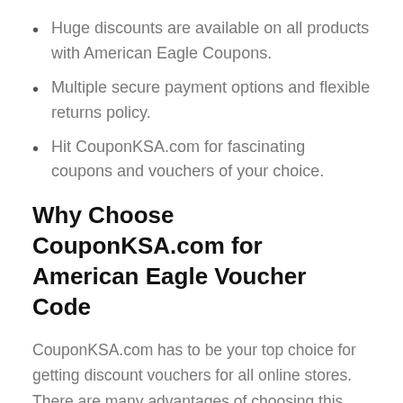Huge discounts are available on all products with American Eagle Coupons.
Multiple secure payment options and flexible returns policy.
Hit CouponKSA.com for fascinating coupons and vouchers of your choice.
Why Choose CouponKSA.com for American Eagle Voucher Code
CouponKSA.com has to be your top choice for getting discount vouchers for all online stores. There are many advantages of choosing this platform for American Eagle Coupon Code and other discount coupons in terms including high discount rates and convenient